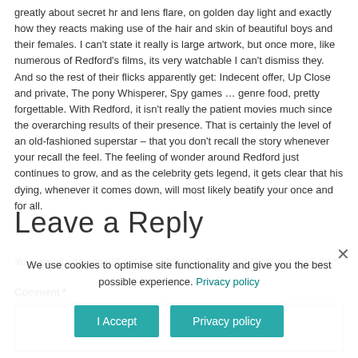greatly about secret hr and lens flare, on golden day light and exactly how they reacts making use of the hair and skin of beautiful boys and their females. I can't state it really is large artwork, but once more, like numerous of Redford's films, its very watchable I can't dismiss they. And so the rest of their flicks apparently get: Indecent offer, Up Close and private, The pony Whisperer, Spy games … genre food, pretty forgettable. With Redford, it isn't really the patient movies much since the overarching results of their presence. That is certainly the level of an old-fashioned superstar – that you don't recall the story whenever your recall the feel. The feeling of wonder around Redford just continues to grow, and as the celebrity gets legend, it gets clear that his dying, whenever it comes down, will most likely beatify your once and for all.
Leave a Reply
Your email address will not be published. Required fields are marked *
Comment *
We use cookies to optimise site functionality and give you the best possible experience. Privacy policy